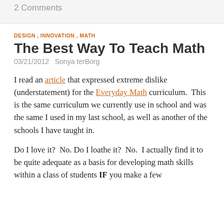2 Comments
DESIGN , INNOVATION , MATH
The Best Way To Teach Math
03/21/2012   Sonya terBorg
I read an article that expressed extreme dislike (understatement) for the Everyday Math curriculum.  This is the same curriculum we currently use in school and was the same I used in my last school, as well as another of the schools I have taught in.
Do I love it?  No. Do I loathe it?  No.  I actually find it to be quite adequate as a basis for developing math skills within a class of students IF you make a few